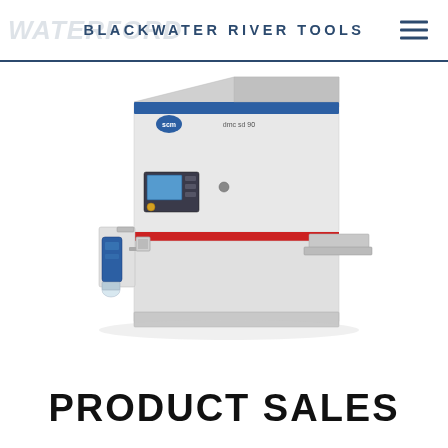BLACKWATER RIVER TOOLS
[Figure (photo): SCM dmc sd 90 industrial wide-belt sanding machine, large white cabinet-style machine with blue SCM logo, red feed roller accent stripe, blue hydraulic attachment on the left side, control panel with touchscreen display, shown in a three-quarter perspective view on white background.]
PRODUCT SALES